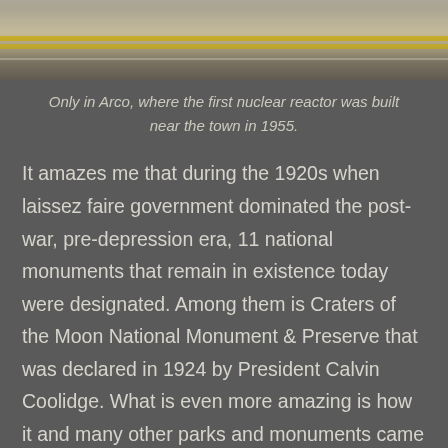[Figure (photo): Top portion of a road/highway photo, showing pavement with yellow and white lane markings against a muted sky background.]
Only in Arco, where the first nuclear reactor was built near the town in 1955.
It amazes me that during the 1920s when laissez faire government dominated the post-war, pre-depression era, 11 national monuments that remain in existence today were designated. Among them is Craters of the Moon National Monument & Preserve that was declared in 1924 by President Calvin Coolidge. What is even more amazing is how it and many other parks and monuments came to be in the first place– through the passion and dedication of visionaries that insisted these lands be preserved and protected.